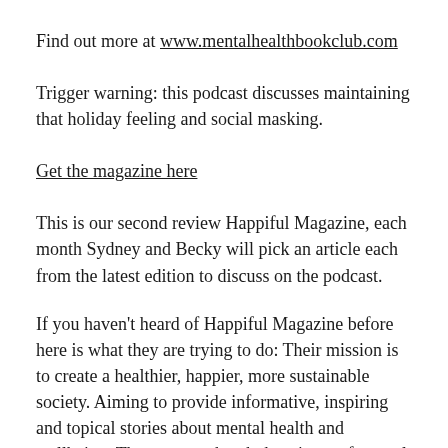Find out more at www.mentalhealthbookclub.com
Trigger warning: this podcast discusses maintaining that holiday feeling and social masking.
Get the magazine here
This is our second review Happiful Magazine, each month Sydney and Becky will pick an article each from the latest edition to discuss on the podcast.
If you haven't heard of Happiful Magazine before here is what they are trying to do: Their mission is to create a healthier, happier, more sustainable society. Aiming to provide informative, inspiring and topical stories about mental health and wellbeing. They want to break the stigma of mental health in society, and to shine a light on the positivity and support that should be